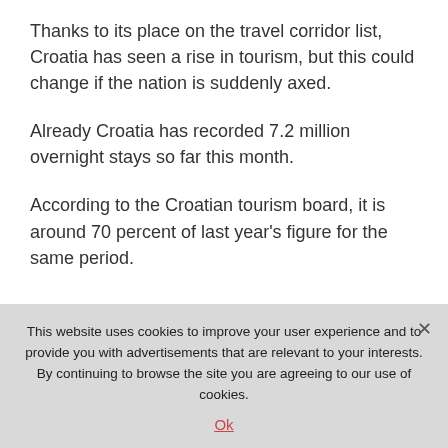Thanks to its place on the travel corridor list, Croatia has seen a rise in tourism, but this could change if the nation is suddenly axed.
Already Croatia has recorded 7.2 million overnight stays so far this month.
According to the Croatian tourism board, it is around 70 percent of last year's figure for the same period.
This website uses cookies to improve your user experience and to provide you with advertisements that are relevant to your interests. By continuing to browse the site you are agreeing to our use of cookies.
Ok